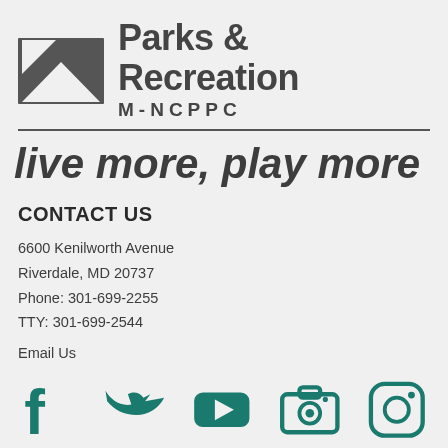[Figure (logo): Parks & Recreation M-NCPPC logo with mountain/geometric icon on the left and bold text on the right]
live more, play more
CONTACT US
6600 Kenilworth Avenue
Riverdale, MD 20737
Phone: 301-699-2255
TTY: 301-699-2544
Email Us
[Figure (infographic): Social media icons: Facebook, Twitter, YouTube, Camera/Flickr, Instagram — all in teal/green color]